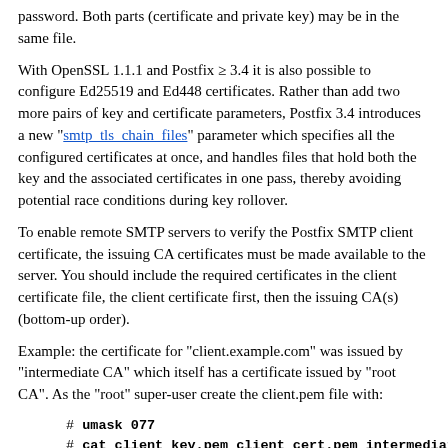password. Both parts (certificate and private key) may be in the same file.
With OpenSSL 1.1.1 and Postfix ≥ 3.4 it is also possible to configure Ed25519 and Ed448 certificates. Rather than add two more pairs of key and certificate parameters, Postfix 3.4 introduces a new "smtp_tls_chain_files" parameter which specifies all the configured certificates at once, and handles files that hold both the key and the associated certificates in one pass, thereby avoiding potential race conditions during key rollover.
To enable remote SMTP servers to verify the Postfix SMTP client certificate, the issuing CA certificates must be made available to the server. You should include the required certificates in the client certificate file, the client certificate first, then the issuing CA(s) (bottom-up order).
Example: the certificate for "client.example.com" was issued by "intermediate CA" which itself has a certificate issued by "root CA". As the "root" super-user create the client.pem file with:
# umask 077
# cat client_key.pem client_cert.pem intermediate_CA
A Postfix SMTP client certificate supplied here must be usable as an SSL client certificate and hence pass the "openssl verify -